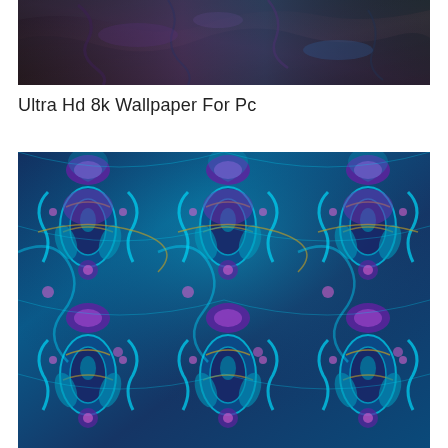[Figure (photo): Close-up photograph of dark, glossy wet rocks or mineral surface with iridescent purple and blue reflections, very dark background]
Ultra Hd 8k Wallpaper For Pc
[Figure (photo): Ornate decorative paisley/damask pattern in teal, turquoise, purple, and gold colors on dark blue background, intricate symmetrical floral and botanical motifs]